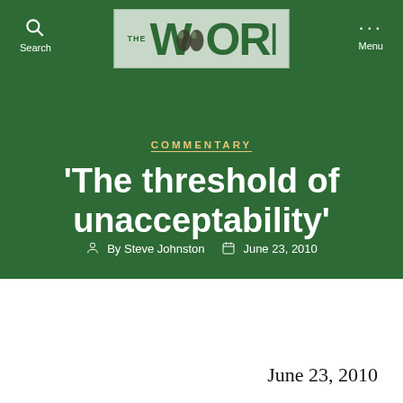Search | THE WORD | Menu
[Figure (logo): THE WORD logo with green text on light green/grey background, stylized W with droplet imagery]
COMMENTARY
'The threshold of unacceptability'
By Steve Johnston   June 23, 2010
June 23, 2010